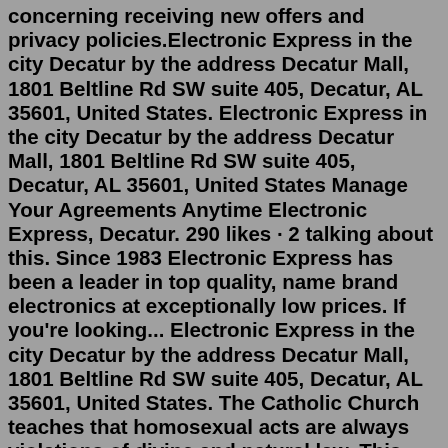concerning receiving new offers and privacy policies.Electronic Express in the city Decatur by the address Decatur Mall, 1801 Beltline Rd SW suite 405, Decatur, AL 35601, United States. Electronic Express in the city Decatur by the address Decatur Mall, 1801 Beltline Rd SW suite 405, Decatur, AL 35601, United States Manage Your Agreements Anytime Electronic Express, Decatur. 290 likes · 2 talking about this. Since 1983 Electronic Express has been a leader in top quality, name brand electronics at exceptionally low prices. If you're looking... Electronic Express in the city Decatur by the address Decatur Mall, 1801 Beltline Rd SW suite 405, Decatur, AL 35601, United States. The Catholic Church teaches that homosexual acts are always violations of divine and natural law. This tract explains the reasons behind this teaching. ... Homosexual activists often justify.decaturdaily.com 201 First Ave. S.E. Decatur, AL 35601 Phone: 256-353-4612 Email: online@decaturdaily.comLe Dîner en Blanc requires from the participants an exemplary